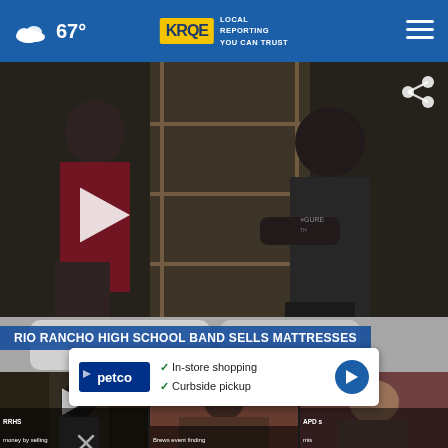67° KRQE LOCAL REPORTING YOU CAN TRUST
[Figure (screenshot): Video thumbnail of Rio Rancho High School Band Sells Mattresses story showing two people in a room with shelving and mattresses]
RIO RANCHO HIGH SCHOOL BAND SELLS MATTRESSES
[Figure (screenshot): Three thumbnail images of related news stories below the main video]
RRHS money by selling
Brews event finding
APD s mis
[Figure (screenshot): Petco advertisement banner with In-store shopping and Curbside pickup options]